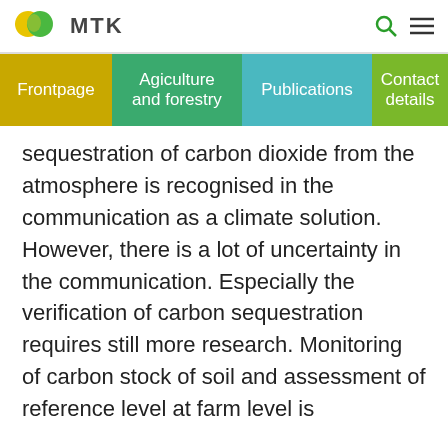MTK
[Figure (logo): MTK logo with green and yellow overlapping leaf shapes]
Frontpage | Agiculture and forestry | Publications | Contact details
sequestration of carbon dioxide from the atmosphere is recognised in the communication as a climate solution. However, there is a lot of uncertainty in the communication. Especially the verification of carbon sequestration requires still more research. Monitoring of carbon stock of soil and assessment of reference level at farm level is